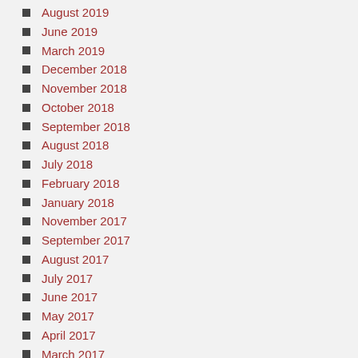August 2019
June 2019
March 2019
December 2018
November 2018
October 2018
September 2018
August 2018
July 2018
February 2018
January 2018
November 2017
September 2017
August 2017
July 2017
June 2017
May 2017
April 2017
March 2017